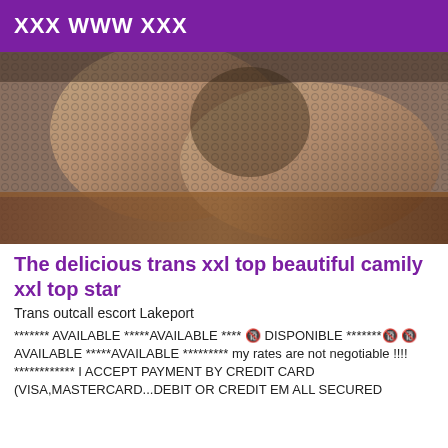XXX WWW XXX
[Figure (photo): Close-up photo of legs wearing fishnet stockings/tights, resting on a wooden surface]
The delicious trans xxl top beautiful camily xxl top star
Trans outcall escort Lakeport
******* AVAILABLE *****AVAILABLE **** 🔞 DISPONIBLE *******🔞 🔞 AVAILABLE *****AVAILABLE ********* my rates are not negotiable !!!! ************ I ACCEPT PAYMENT BY CREDIT CARD (VISA,MASTERCARD...DEBIT OR CREDIT EM ALL SECURED